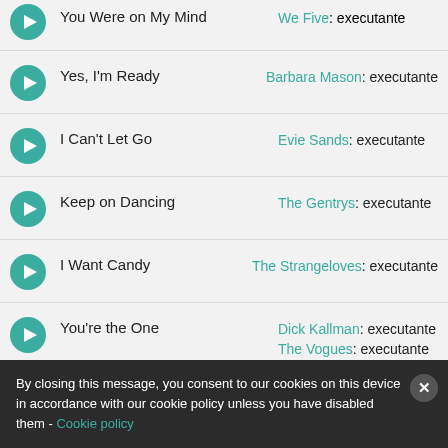You Were on My Mind — We Five: executante
Yes, I'm Ready — Barbara Mason: executante
I Can't Let Go — Evie Sands: executante
Keep on Dancing — The Gentrys: executante
I Want Candy — The Strangeloves: executante
You're the One — Dick Kallman: executante; The Vogues: executante
Elusive Butterfly — Bob Lind: executante
(partial row) — (Brothers): executante
By closing this message, you consent to our cookies on this device in accordance with our cookie policy unless you have disabled them - Cookie policy